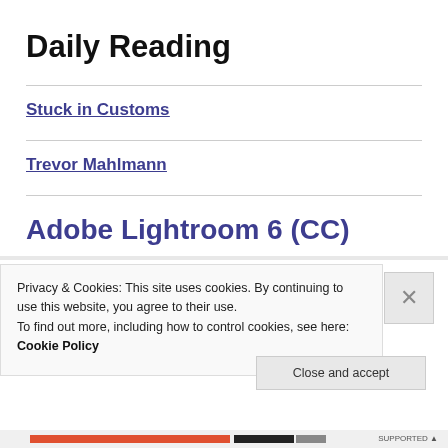Daily Reading
Stuck in Customs
Trevor Mahlmann
Adobe Lightroom 6 (CC)
Privacy & Cookies: This site uses cookies. By continuing to use this website, you agree to their use.
To find out more, including how to control cookies, see here: Cookie Policy
Close and accept